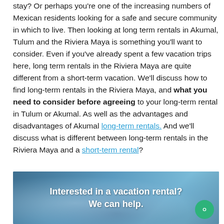stay? Or perhaps you're one of the increasing numbers of Mexican residents looking for a safe and secure community in which to live. Then looking at long term rentals in Akumal, Tulum and the Riviera Maya is something you'll want to consider. Even if you've already spent a few vacation trips here, long term rentals in the Riviera Maya are quite different from a short-term vacation. We'll discuss how to find long-term rentals in the Riviera Maya, and what you need to consider before agreeing to your long-term rental in Tulum or Akumal. As well as the advantages and disadvantages of Akumal long-term rentals. And we'll discuss what is different between long-term rentals in the Riviera Maya and a short-term rental?
[Figure (photo): Interior vacation rental photo with overlaid text reading 'Interested in a vacation rental? We can help.' A green chat bubble icon appears in the bottom right corner.]